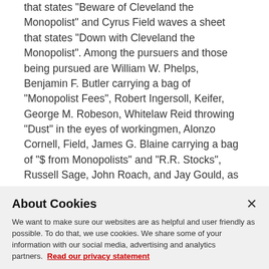that states "Beware of Cleveland the Monopolist" and Cyrus Field waves a sheet that states "Down with Cleveland the Monopolist". Among the pursuers and those being pursued are William W. Phelps, Benjamin F. Butler carrying a bag of "Monopolist Fees", Robert Ingersoll, Keifer, George M. Robeson, Whitelaw Reid throwing "Dust" in the eyes of workingmen, Alonzo Cornell, Field, James G. Blaine carrying a bag of "$ from Monopolists" and "R.R. Stocks", Russell Sage, John Roach, and Jay Gould, as well as a dog with the face of John Kelly(?), and with a teapot labeled "Alliance with Monopolists" tied to its tail; all are determined to
About Cookies
We want to make sure our websites are as helpful and user friendly as possible. To do that, we use cookies. We share some of your information with our social media, advertising and analytics partners. Read our privacy statement